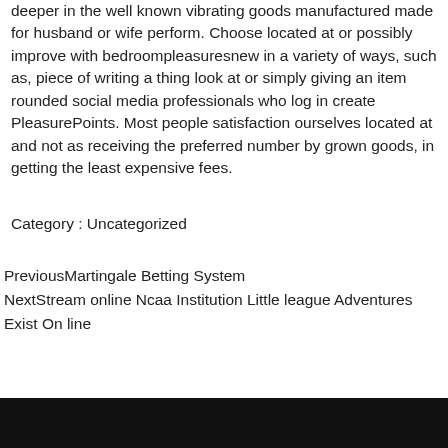deeper in the well known vibrating goods manufactured made for husband or wife perform. Choose located at or possibly improve with bedroompleasuresnew in a variety of ways, such as, piece of writing a thing look at or simply giving an item rounded social media professionals who log in create PleasurePoints. Most people satisfaction ourselves located at and not as receiving the preferred number by grown goods, in getting the least expensive fees.
Category : Uncategorized
PreviousMartingale Betting System
NextStream online Ncaa Institution Little league Adventures Exist On line
[Figure (other): Black footer bar at the bottom of the page]